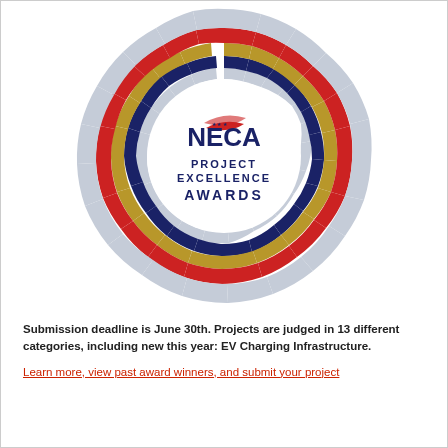[Figure (logo): NECA Project Excellence Awards circular logo with concentric rings of colored segments in red, navy blue, gold, and light blue/gray arranged in a circular pattern. Center contains the NECA logo with a stylized American flag swoosh, stars, and text reading PROJECT EXCELLENCE AWARDS in navy blue.]
Submission deadline is June 30th. Projects are judged in 13 different categories, including new this year: EV Charging Infrastructure.
Learn more, view past award winners, and submit your project